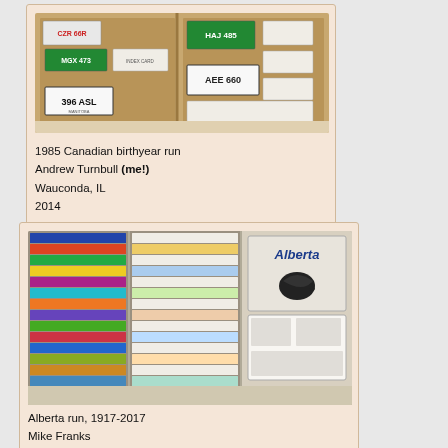[Figure (photo): Photo of a display board showing multiple Canadian license plates arranged in rows, including plates with numbers like CZR 666, MGX 473, HAJ 485, 396 ASL, AEE 660 - a 1985 Canadian birthyear run exhibit]
1985 Canadian birthyear run
Andrew Turnbull (me!)
Wauconda, IL
2014
[Figure (photo): Photo of a large multi-panel display board covered with colorful Alberta license plates from various years (1917-2017), showing an Alberta run exhibit with an Alberta logo visible on the right panel]
Alberta run, 1917-2017
Mike Franks
Grimsby, ON
2017